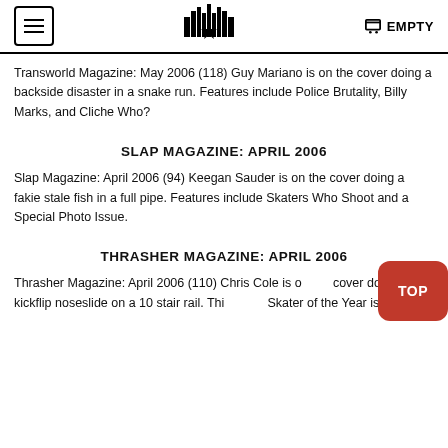EMPTY
Transworld Magazine: May 2006 (118) Guy Mariano is on the cover doing a backside disaster in a snake run. Features include Police Brutality, Billy Marks, and Cliche Who?
SLAP MAGAZINE: APRIL 2006
Slap Magazine: April 2006 (94) Keegan Sauder is on the cover doing a fakie stale fish in a full pipe. Features include Skaters Who Shoot and a Special Photo Issue.
THRASHER MAGAZINE: APRIL 2006
Thrasher Magazine: April 2006 (110) Chris Cole is on the cover doing a kickflip noseslide on a 10 stair rail. This is the Skater of the Year issue.